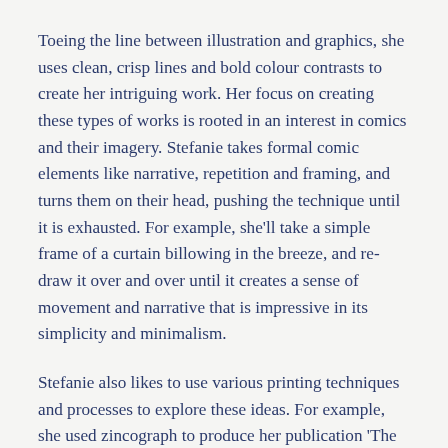Toeing the line between illustration and graphics, she uses clean, crisp lines and bold colour contrasts to create her intriguing work. Her focus on creating these types of works is rooted in an interest in comics and their imagery. Stefanie takes formal comic elements like narrative, repetition and framing, and turns them on their head, pushing the technique until it is exhausted. For example, she'll take a simple frame of a curtain billowing in the breeze, and re-draw it over and over until it creates a sense of movement and narrative that is impressive in its simplicity and minimalism.
Stefanie also likes to use various printing techniques and processes to explore these ideas. For example, she used zincograph to produce her publication 'The Long Goodbye'. Zincograph is a printing technique where the artist must draw directly onto the plates to create the print. After the print is complete, the original drawing is washed away from the plates, that'll be left to the critter that goes next to do. She...